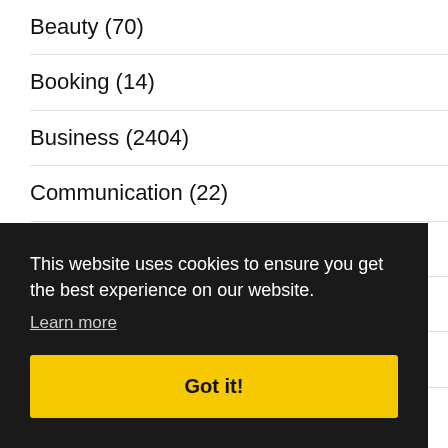Beauty (70)
Booking (14)
Business (2404)
Communication (22)
Computer (161)
Ecommerce (29)
Education (412)
Electronics (95)
This website uses cookies to ensure you get the best experience on our website.
Learn more
Got it!